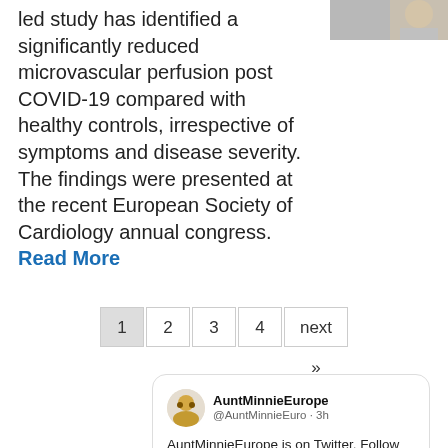[Figure (photo): Partial photo of a person, cropped in the top-right corner]
led study has identified a significantly reduced microvascular perfusion post COVID-19 compared with healthy controls, irrespective of symptoms and disease severity. The findings were presented at the recent European Society of Cardiology annual congress. Read More
1 2 3 4 next »
AuntMinnieEurope @AuntMinnieEuro • 3h AuntMinnieEurope is on Twitter. Follow us @AuntMinnieEuro for European radiology news. twitter.com/auntminnieeuro